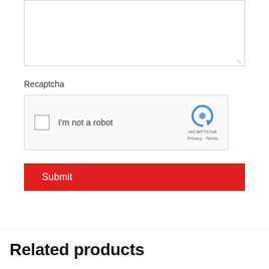[Figure (screenshot): A textarea form field with a resize handle in the bottom-right corner]
Recaptcha
[Figure (screenshot): reCAPTCHA widget with checkbox labeled 'I'm not a robot', reCAPTCHA logo, Privacy and Terms links]
Submit
Related products